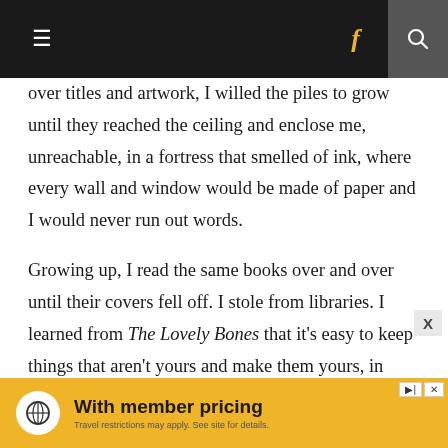Navigation bar with hamburger menu, Facebook icon, and search icon
over titles and artwork, I willed the piles to grow until they reached the ceiling and enclose me, unreachable, in a fortress that smelled of ink, where every wall and window would be made of paper and I would never run out words.

Growing up, I read the same books over and over until their covers fell off. I stole from libraries. I learned from The Lovely Bones that it's easy to keep things that aren't yours and make them yours, in more ways than one. I stuck V.C.
[Figure (other): Advertisement banner with yellow background, compass/travel icon, text 'With member pricing', subtext 'Travel restrictions may apply. See site for details.']